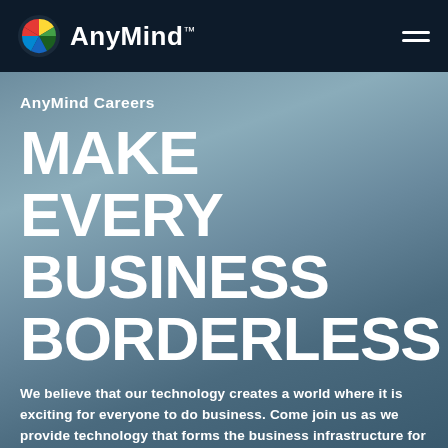AnyMind™
AnyMind Careers
MAKE EVERY BUSINESS BORDERLESS
We believe that our technology creates a world where it is exciting for everyone to do business. Come join us as we provide technology that forms the business infrastructure for next-generation commerce.